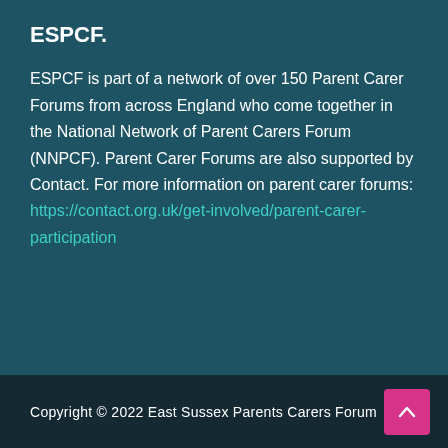ESPCF.
ESPCF is part of a network of over 150 Parent Carer Forums from across England who come together in the National Network of Parent Carers Forum (NNPCF). Parent Carer Forums are also supported by Contact. For more information on parent carer forums: https://contact.org.uk/get-involved/parent-carer-participation
Copyright © 2022 East Sussex Parents Carers Forum